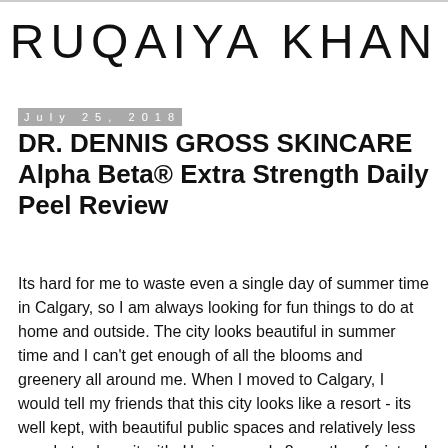RUQAIYA KHAN
July 25, 2018
DR. DENNIS GROSS SKINCARE Alpha Beta® Extra Strength Daily Peel Review
Its hard for me to waste even a single day of summer time in Calgary, so I am always looking for fun things to do at home and outside. The city looks beautiful in summer time and I can't get enough of all the blooms and greenery all around me. When I moved to Calgary, I would tell my friends that this city looks like a resort - its well kept, with beautiful public spaces and relatively less people to share it with. Having nearly 8 months of winter, I obviously look forward to the summer months but that brings new challenges for skincare - especially sun spots!! And they are so hard to get rid off...